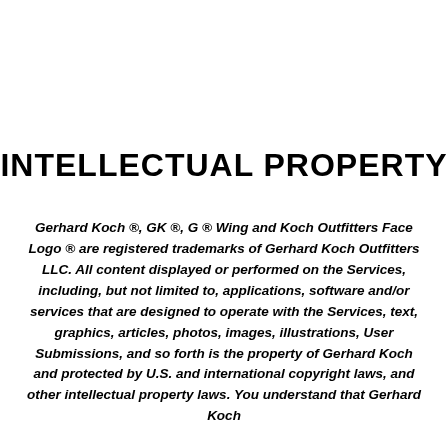INTELLECTUAL PROPERTY
Gerhard Koch ®, GK ®, G ® Wing and Koch Outfitters Face Logo ® are registered trademarks of Gerhard Koch Outfitters LLC. All content displayed or performed on the Services, including, but not limited to, applications, software and/or services that are designed to operate with the Services, text, graphics, articles, photos, images, illustrations, User Submissions, and so forth is the property of Gerhard Koch and protected by U.S. and international copyright laws, and other intellectual property laws. You understand that Gerhard Koch